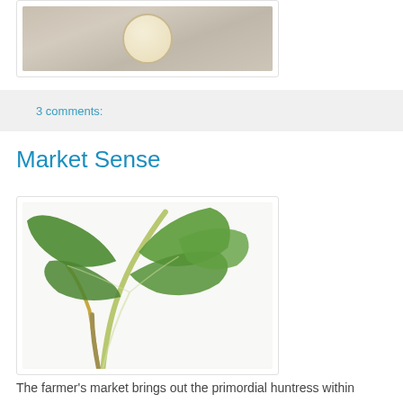[Figure (photo): Photo of a cup with light-colored liquid, viewed from above on a light surface]
3 comments:
Market Sense
[Figure (photo): Photo of green leafy vegetables (kale or similar) on a white surface]
The farmer's market brings out the primordial huntress within